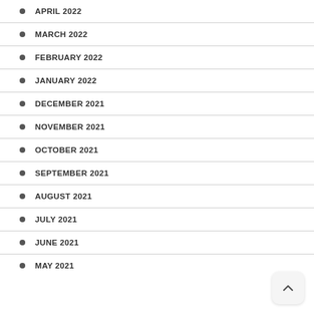APRIL 2022
MARCH 2022
FEBRUARY 2022
JANUARY 2022
DECEMBER 2021
NOVEMBER 2021
OCTOBER 2021
SEPTEMBER 2021
AUGUST 2021
JULY 2021
JUNE 2021
MAY 2021